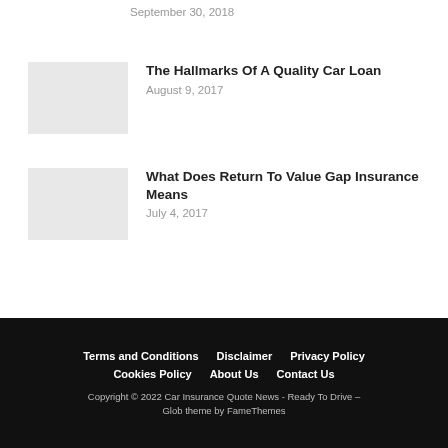September 30, 2018
The Hallmarks Of A Quality Car Loan
August 9, 2017
What Does Return To Value Gap Insurance Means
July 4, 2017
Terms and Conditions   Disclaimer   Privacy Policy   Cookies Policy   About Us   Contact Us   Copyright © 2022 Car Insurance Quote News - Ready To Drive – Glob theme by FameThemes